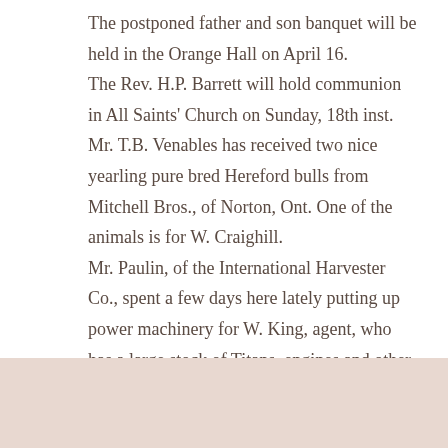The postponed father and son banquet will be held in the Orange Hall on April 16. The Rev. H.P. Barrett will hold communion in All Saints' Church on Sunday, 18th inst. Mr. T.B. Venables has received two nice yearling pure bred Hereford bulls from Mitchell Bros., of Norton, Ont. One of the animals is for W. Craighill. Mr. Paulin, of the International Harvester Co., spent a few days here lately putting up power machinery for W. King, agent, who has a large stock of Titans, engines and other machinery and farm implements for the season's trade.